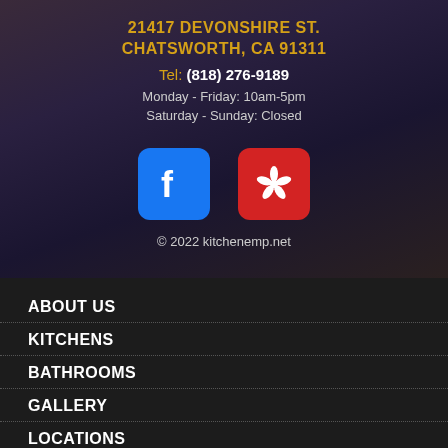21417 DEVONSHIRE ST.
CHATSWORTH, CA 91311
Tel: (818) 276-9189
Monday - Friday: 10am-5pm
Saturday - Sunday: Closed
[Figure (logo): Facebook logo icon (blue rounded square with white f)]
[Figure (logo): Yelp logo icon (red rounded square with white burst/flower symbol)]
© 2022 kitchenemp.net
ABOUT US
KITCHENS
BATHROOMS
GALLERY
LOCATIONS